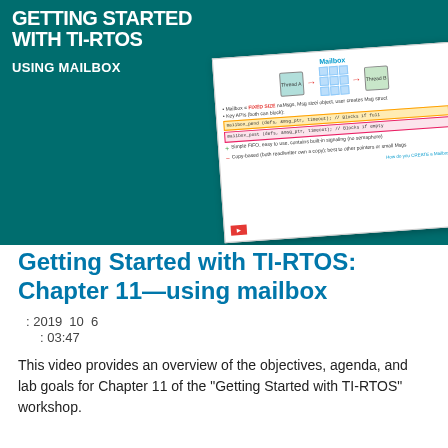[Figure (screenshot): Thumbnail image for a TI-RTOS tutorial video. Dark teal background with bold white uppercase title 'GETTING STARTED WITH TI-RTOS' and subtitle 'USING MAILBOX'. A tilted white slide on the right shows a mailbox diagram with Thread A, a grid/matrix block, Thread B, arrows, and bullet points about mailbox APIs with code blocks.]
Getting Started with TI-RTOS: Chapter 11—using mailbox
: 2019  10  6
: 03:47
This video provides an overview of the objectives, agenda, and lab goals for Chapter 11 of the "Getting Started with TI-RTOS" workshop.